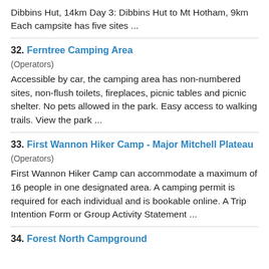Dibbins Hut, 14km Day 3: Dibbins Hut to Mt Hotham, 9km Each campsite has five sites ...
32. Ferntree Camping Area
(Operators)
Accessible by car, the camping area has non-numbered sites, non-flush toilets, fireplaces, picnic tables and picnic shelter. No pets allowed in the park. Easy access to walking trails. View the park ...
33. First Wannon Hiker Camp - Major Mitchell Plateau
(Operators)
First Wannon Hiker Camp can accommodate a maximum of 16 people in one designated area. A camping permit is required for each individual and is bookable online. A Trip Intention Form or Group Activity Statement ...
34. Forest North Campground